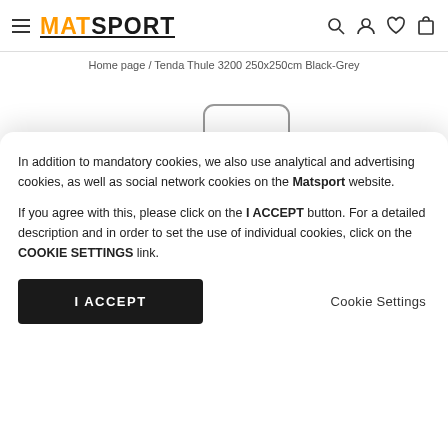MATSPORT
Home page / Tenda Thule 3200 250x250cm Black-Grey
[Figure (illustration): Line drawing / schematic illustration of a Thule awning/tent product mount bracket]
In addition to mandatory cookies, we also use analytical and advertising cookies, as well as social network cookies on the Matsport website.

If you agree with this, please click on the I ACCEPT button. For a detailed description and in order to set the use of individual cookies, click on the COOKIE SETTINGS link.
I ACCEPT
Cookie Settings